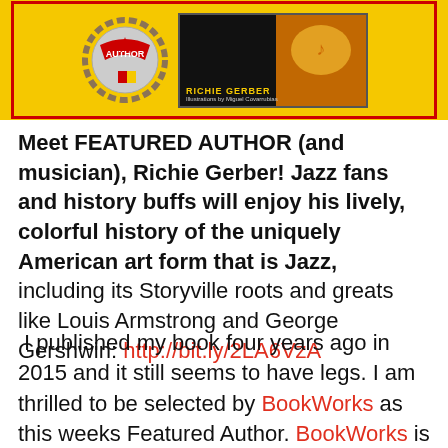[Figure (illustration): Yellow banner with red border containing a featured author badge/seal on the left and a book cover image on the right with text 'RICHIE GERBER' and 'Illustrations by Miguel Covarrubias']
Meet FEATURED AUTHOR (and musician), Richie Gerber! Jazz fans and history buffs will enjoy his lively, colorful history of the uniquely American art form that is Jazz, including its Storyville roots and greats like Louis Armstrong and George Gershwin: http://bit.ly/2LA6VzA
I published my book four years ago in 2015 and it still seems to have legs. I am thrilled to be selected by BookWorks as this weeks Featured Author. BookWorks is an outfit for the indie